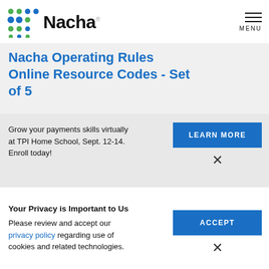Nacha — MENU
Nacha Operating Rules Online Resource Codes - Set of 5
Grow your payments skills virtually at TPI Home School, Sept. 12-14. Enroll today!
LEARN MORE
Your Privacy is Important to Us
Please review and accept our privacy policy regarding use of cookies and related technologies.
ACCEPT